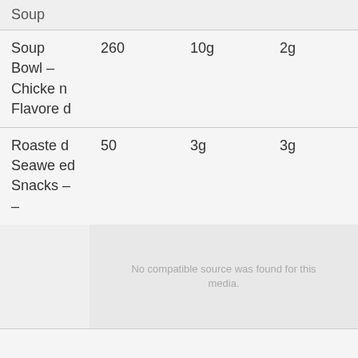|  |  |  |  |
| --- | --- | --- | --- |
| Soup |  |  |  |
| Soup Bowl – Chicken Flavored | 260 | 10g | 2g |
| Roasted Seaweed Snacks –
– | 50 | 3g | 3g |